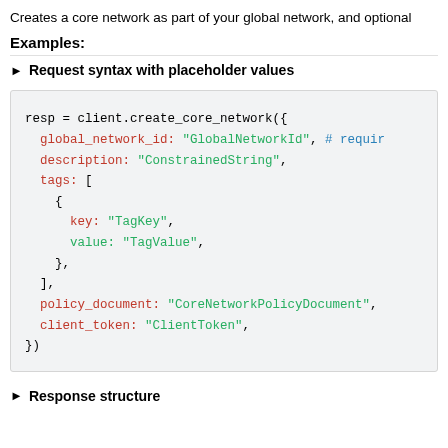Creates a core network as part of your global network, and optional
Examples:
► Request syntax with placeholder values
[Figure (screenshot): Code block showing Ruby/SDK syntax for client.create_core_network() with parameters: global_network_id, description, tags (with key/value), policy_document, client_token]
► Response structure